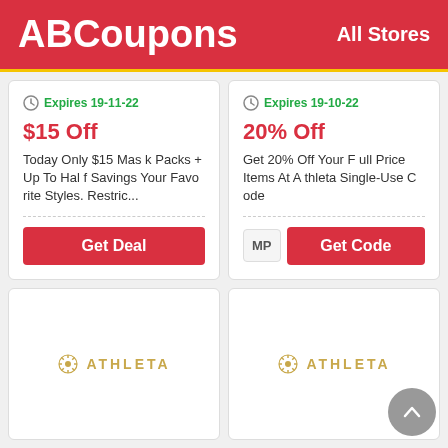ABCoupons  All Stores
Expires 19-11-22
$15 Off
Today Only $15 Mask Packs + Up To Half Savings Your Favorite Styles. Restric...
Get Deal
Expires 19-10-22
20% Off
Get 20% Off Your Full Price Items At Athleta Single-Use Code
MP  Get Code
[Figure (logo): Athleta logo with star/snowflake icon and text ATHLETA in gold]
[Figure (logo): Athleta logo with star/snowflake icon and text ATHLETA in gold]